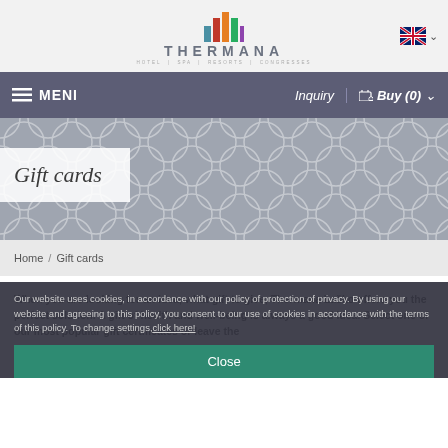[Figure (logo): Thermana logo with colorful bar chart icon and text THERMANA, HOTEL | SPA | RESORTS | CONGRESSES]
[Figure (logo): UK flag language selector with dropdown caret]
≡ MENI   Inquiry | 🛒 Buy (0) ∨
Gift cards
Home / Gift cards
When you are looking for an idea, what gift to give, Thermana Laško offers you the perfect solution. A gift of health and well-being is always a good idea. Select one of our most popular gift certificates or leave the
Our website uses cookies, in accordance with our policy of protection of privacy. By using our website and agreeing to this policy, you consent to our use of cookies in accordance with the terms of this policy. To change settings,click here!
Close